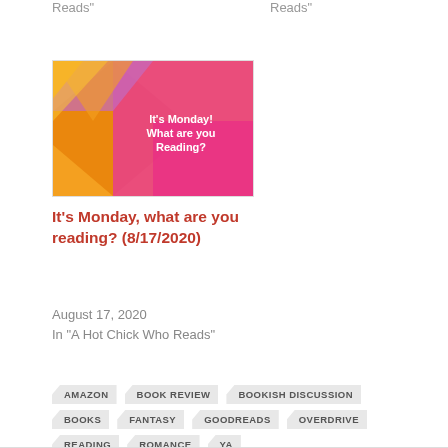Reads"
Reads"
[Figure (illustration): Colorful geometric background image with orange, yellow, pink, and purple shapes with text 'It's Monday! What are you Reading?']
It's Monday, what are you reading? (8/17/2020)
August 17, 2020
In "A Hot Chick Who Reads"
AMAZON
BOOK REVIEW
BOOKISH DISCUSSION
BOOKS
FANTASY
GOODREADS
OVERDRIVE
READING
ROMANCE
YA